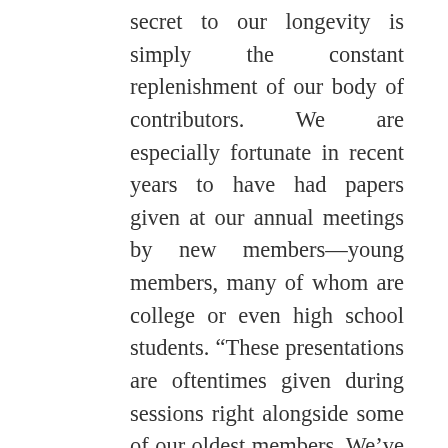secret to our longevity is simply the constant replenishment of our body of contributors. We are especially fortunate in recent years to have had papers given at our annual meetings by new members—young members, many of whom are college or even high school students. “These presentations are oftentimes given during sessions right alongside some of our oldest members. We’ve also had long-time members who've been around for years but had never yet given papers; thankfully, they finally took the opportunity to present their research, fulfilling the mission of the TFS: to collect, preserve, and present the lore of Texas and the Southwest. “You’ll find in this book some of the best articles from those presentations. The first fruits of our youngest or newest members include Acayla Haile on the folklore of plants. Familiar and well-respected